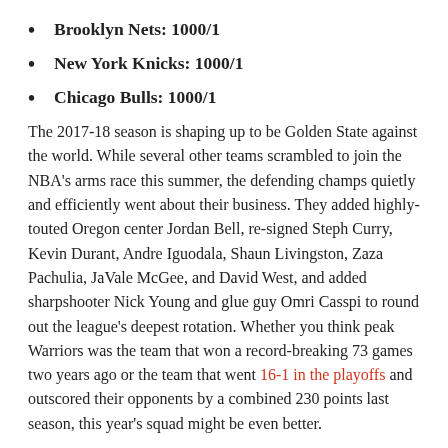Brooklyn Nets: 1000/1
New York Knicks: 1000/1
Chicago Bulls: 1000/1
The 2017-18 season is shaping up to be Golden State against the world. While several other teams scrambled to join the NBA's arms race this summer, the defending champs quietly and efficiently went about their business. They added highly-touted Oregon center Jordan Bell, re-signed Steph Curry, Kevin Durant, Andre Iguodala, Shaun Livingston, Zaza Pachulia, JaVale McGee, and David West, and added sharpshooter Nick Young and glue guy Omri Casspi to round out the league's deepest rotation. Whether you think peak Warriors was the team that won a record-breaking 73 games two years ago or the team that went 16-1 in the playoffs and outscored their opponents by a combined 230 points last season, this year's squad might be even better.
2018 NBA Title: Golden Warriors S